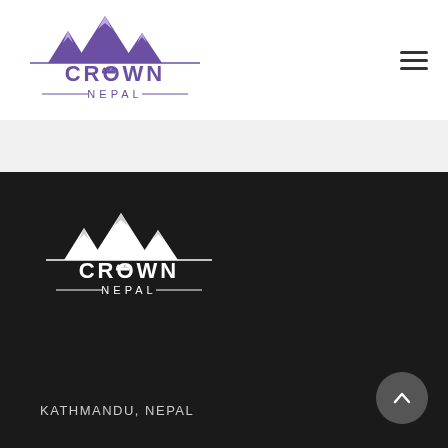[Figure (logo): Crown Nepal logo in purple/violet color — mountain peaks above, crown emblem in center of text, CROWN in large letters, NEPAL below with decorative lines]
[Figure (logo): Crown Nepal logo in white — mountain peaks above, crown emblem in center of text, CROWN in large letters, NEPAL below with decorative lines, on dark background]
KATHMANDU, NEPAL